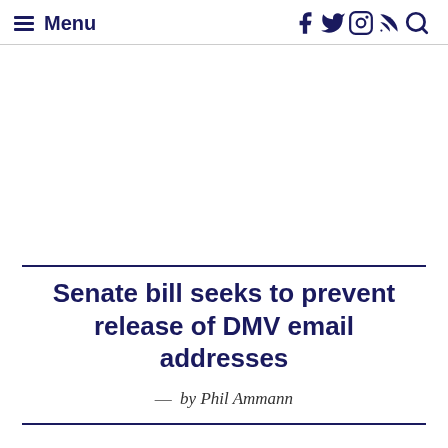Menu
[Figure (other): Advertisement/banner placeholder area (mostly blank white space)]
Senate bill seeks to prevent release of DMV email addresses
— by Phil Ammann